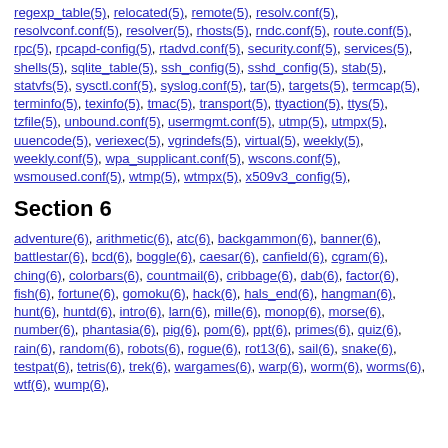regexp_table(5), relocated(5), remote(5), resolv.conf(5), resolvconf.conf(5), resolver(5), rhosts(5), rndc.conf(5), route.conf(5), rpc(5), rpcapd-config(5), rtadvd.conf(5), security.conf(5), services(5), shells(5), sqlite_table(5), ssh_config(5), sshd_config(5), stab(5), statvfs(5), sysctl.conf(5), syslog.conf(5), tar(5), targets(5), termcap(5), terminfo(5), texinfo(5), tmac(5), transport(5), ttyaction(5), ttys(5), tzfile(5), unbound.conf(5), usermgmt.conf(5), utmp(5), utmpx(5), uuencode(5), veriexec(5), vgrindefs(5), virtual(5), weekly(5), weekly.conf(5), wpa_supplicant.conf(5), wscons.conf(5), wsmoused.conf(5), wtmp(5), wtmpx(5), x509v3_config(5),
Section 6
adventure(6), arithmetic(6), atc(6), backgammon(6), banner(6), battlestar(6), bcd(6), boggle(6), caesar(6), canfield(6), cgram(6), ching(6), colorbars(6), countmail(6), cribbage(6), dab(6), factor(6), fish(6), fortune(6), gomoku(6), hack(6), hals_end(6), hangman(6), hunt(6), huntd(6), intro(6), larn(6), mille(6), monop(6), morse(6), number(6), phantasia(6), pig(6), pom(6), ppt(6), primes(6), quiz(6), rain(6), random(6), robots(6), rogue(6), rot13(6), sail(6), snake(6), testpat(6), tetris(6), trek(6), wargames(6), warp(6), worm(6), worms(6), wtf(6), wump(6),